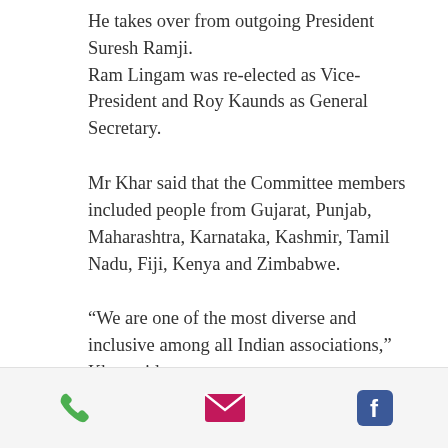He takes over from outgoing President Suresh Ramji. Ram Lingam was re-elected as Vice-President and Roy Kaunds as General Secretary.
Mr Khar said that the Committee members included people from Gujarat, Punjab, Maharashtra, Karnataka, Kashmir, Tamil Nadu, Fiji, Kenya and Zimbabwe.
“We are one of the most diverse and inclusive among all Indian associations,” Khar said.
The Executive Committee is made up
[Figure (screenshot): Mobile app bottom navigation bar with three icons: phone (green), email/envelope (pink/magenta), and Facebook (blue)]